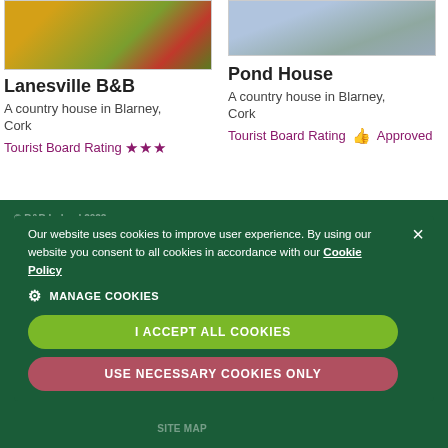[Figure (photo): Photo of Lanesville B&B showing yellow flowering bushes and a red building]
Lanesville B&B
A country house in Blarney, Cork
Tourist Board Rating ★★★
[Figure (photo): Photo of Pond House showing a rainy outdoor scene]
Pond House
A country house in Blarney, Cork
Tourist Board Rating 👍 Approved
© B&B Ireland 2022
Our website uses cookies to improve user experience. By using our website you consent to all cookies in accordance with our Cookie Policy
MANAGE COOKIES
I ACCEPT ALL COOKIES
USE NECESSARY COOKIES ONLY